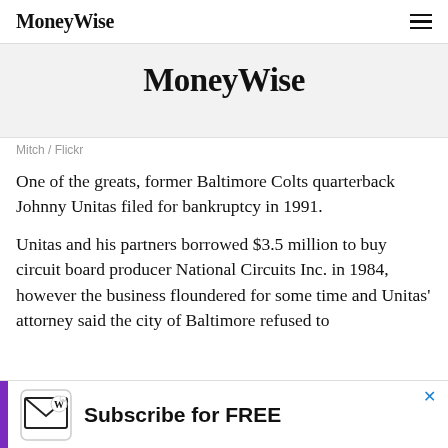MoneyWise
[Figure (logo): MoneyWise logo displayed large in a light grey hero banner area]
Mitch / Flickr
One of the greats, former Baltimore Colts quarterback Johnny Unitas filed for bankruptcy in 1991.
Unitas and his partners borrowed $3.5 million to buy circuit board producer National Circuits Inc. in 1984, however the business floundered for some time and Unitas' attorney said the city of Baltimore refused to
[Figure (infographic): Subscribe for FREE advertisement banner with MoneyWise envelope icon and purple bar on left, with close X button]